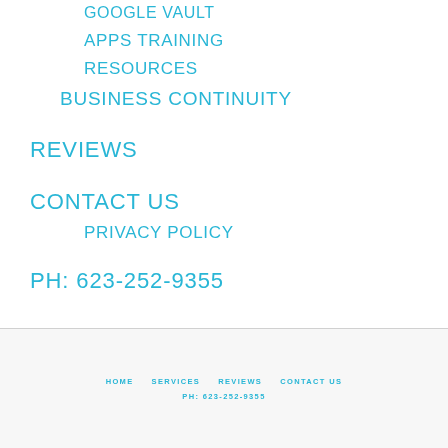GOOGLE VAULT
APPS TRAINING
RESOURCES
BUSINESS CONTINUITY
REVIEWS
CONTACT US
PRIVACY POLICY
PH: 623-252-9355
HOME   SERVICES   REVIEWS   CONTACT US   PH: 623-252-9355